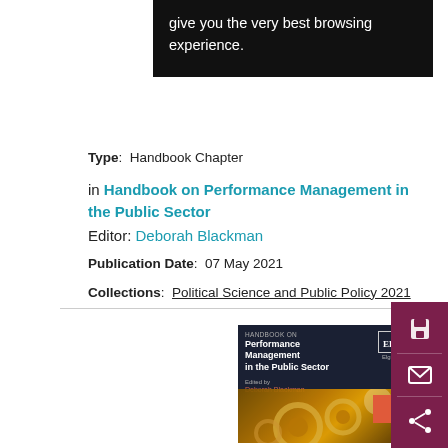give you the very best browsing experience.
Type:  Handbook Chapter
in Handbook on Performance Management in the Public Sector
Editor: Deborah Blackman
Publication Date:  07 May 2021
Collections:  Political Science and Public Policy 2021
[Figure (photo): Book cover of 'Handbook on Performance Management in the Public Sector' edited by Deborah Blackman, published by EE Elgar, with gears imagery on the cover.]